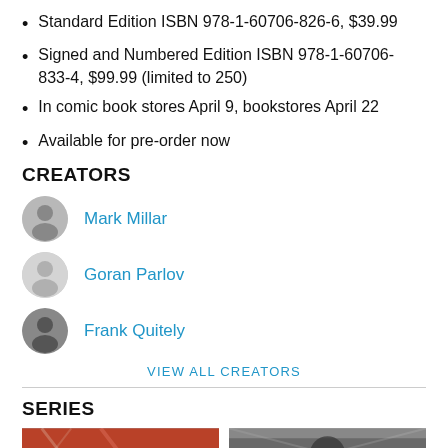Standard Edition ISBN 978-1-60706-826-6, $39.99
Signed and Numbered Edition ISBN 978-1-60706-833-4, $99.99 (limited to 250)
In comic book stores April 9, bookstores April 22
Available for pre-order now
CREATORS
Mark Millar
Goran Parlov
Frank Quitely
VIEW ALL CREATORS
SERIES
[Figure (photo): Two comic book cover images shown at the bottom of the page as part of the Series section]